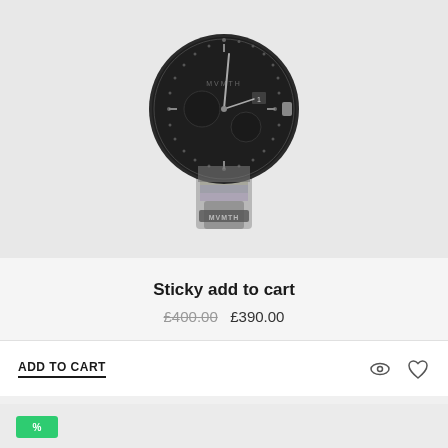[Figure (photo): MVMT chronograph watch with dark face and camouflage/grey patterned strap on a light grey background]
Sticky add to cart
£400.00  £390.00
ADD TO CART